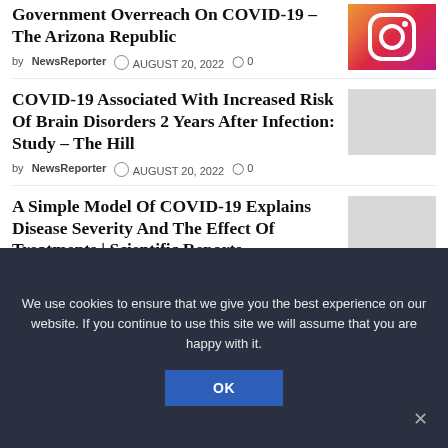Government Overreach On COVID-19 – The Arizona Republic
by NewsReporter  AUGUST 20, 2022  0
[Figure (photo): Instagram logo icon with pink/orange gradient background]
COVID-19 Associated With Increased Risk Of Brain Disorders 2 Years After Infection: Study – The Hill
by NewsReporter  AUGUST 20, 2022  0
[Figure (photo): Gray placeholder thumbnail image]
A Simple Model Of COVID-19 Explains Disease Severity And The Effect Of Treatments | Scientific Reports – Nature.com
by NewsReporter  AUGUST 20, 2022  0
[Figure (photo): Gray placeholder thumbnail image]
We use cookies to ensure that we give you the best experience on our website. If you continue to use this site we will assume that you are happy with it.